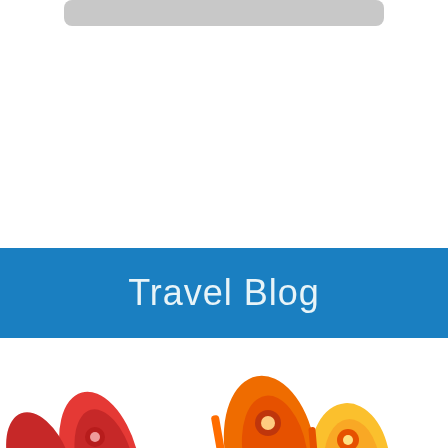[Figure (other): Gray rounded rectangle bar at the top of the page, likely a search bar or navigation element]
Travel Blog
[Figure (photo): Colorful Disney MagicBand wristbands in red, orange, and yellow at the bottom of the page, with MagicBand green logo text visible]